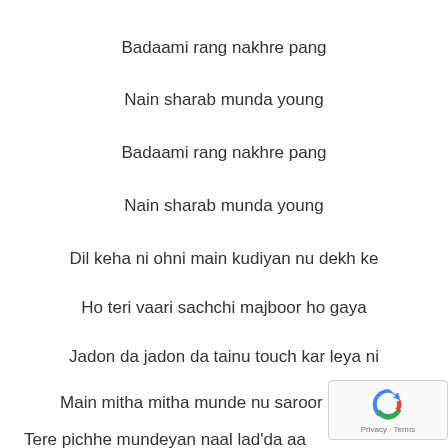Badaami rang nakhre pang
Nain sharab munda young
Badaami rang nakhre pang
Nain sharab munda young
Dil keha ni ohni main kudiyan nu dekh ke
Ho teri vaari sachchi majboor ho gaya
Jadon da jadon da tainu touch kar leya ni
Main mitha mitha munde nu saroor ho gaya
Tere pichhe mundeyan naal lad'da aa main